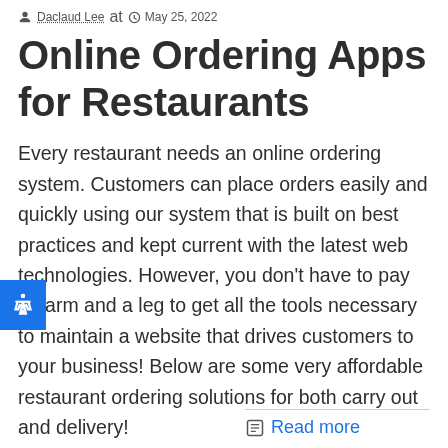Daclaud Lee at May 25, 2022
Online Ordering Apps for Restaurants
Every restaurant needs an online ordering system. Customers can place orders easily and quickly using our system that is built on best practices and kept current with the latest web technologies. However, you don't have to pay an arm and a leg to get all the tools necessary to maintain a website that drives customers to your business! Below are some very affordable restaurant ordering solutions for both carry out and delivery!
Read more